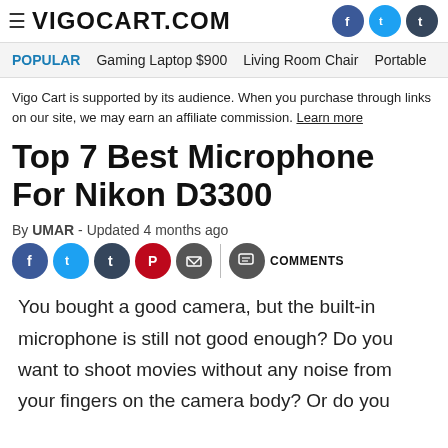≡ VIGOCART.COM
POPULAR   Gaming Laptop $900   Living Room Chair   Portable
Vigo Cart is supported by its audience. When you purchase through links on our site, we may earn an affiliate commission. Learn more
Top 7 Best Microphone For Nikon D3300
By UMAR - Updated 4 months ago
You bought a good camera, but the built-in microphone is still not good enough? Do you want to shoot movies without any noise from your fingers on the camera body? Or do you